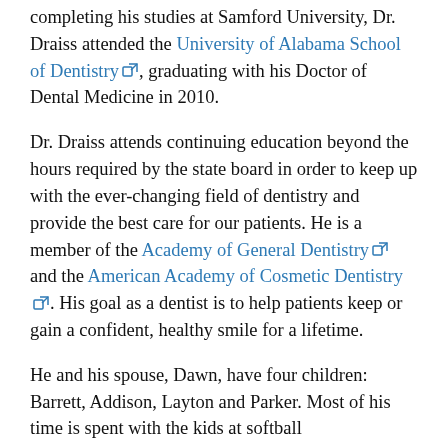completing his studies at Samford University, Dr. Draiss attended the University of Alabama School of Dentistry, graduating with his Doctor of Dental Medicine in 2010.
Dr. Draiss attends continuing education beyond the hours required by the state board in order to keep up with the ever-changing field of dentistry and provide the best care for our patients. He is a member of the Academy of General Dentistry and the American Academy of Cosmetic Dentistry. His goal as a dentist is to help patients keep or gain a confident, healthy smile for a lifetime.
He and his spouse, Dawn, have four children: Barrett, Addison, Layton and Parker. Most of his time is spent with the kids at softball